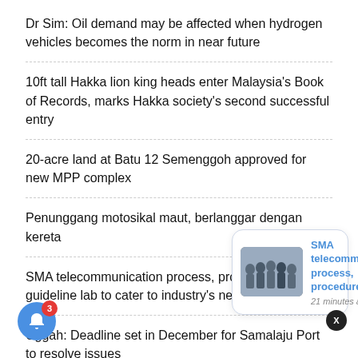Dr Sim: Oil demand may be affected when hydrogen vehicles becomes the norm in near future
10ft tall Hakka lion king heads enter Malaysia's Book of Records, marks Hakka society's second successful entry
20-acre land at Batu 12 Semenggoh approved for new MPP complex
Penunggang motosikal maut, berlanggar dengan kereta
SMA telecommunication process, procedure and guideline lab to cater to industry's needs
Uggah: Deadline set in December for Samalaju Port to resolve issues
Employers in Bint... marking vis...
[Figure (screenshot): Notification popup showing SMA telecommunication article with group photo thumbnail, title in blue, and '21 minutes ago' timestamp]
Plaza Merdeka to host Mid Autumn Festival from Aug 26 to Sept